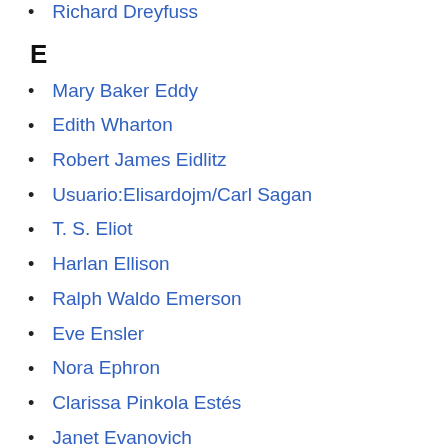Richard Dreyfuss
E
Mary Baker Eddy
Edith Wharton
Robert James Eidlitz
Usuario:Elisardojm/Carl Sagan
T. S. Eliot
Harlan Ellison
Ralph Waldo Emerson
Eve Ensler
Nora Ephron
Clarissa Pinkola Estés
Janet Evanovich